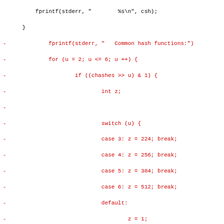[Figure (screenshot): A code diff view showing removed lines (red, marked with -) and added lines (green, marked with +) in C source code. The diff shows a change from printing common hash functions with a switch statement to printing common sign+hash functions with RSA and ECDSA checks.]